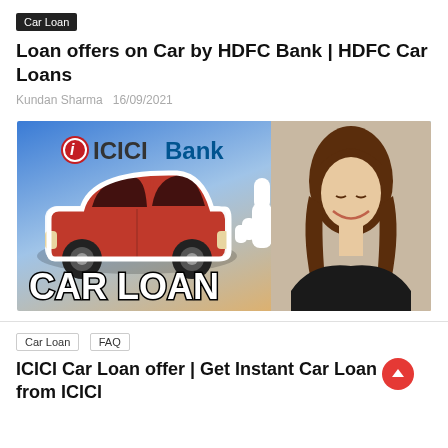Car Loan
Loan offers on Car by HDFC Bank | HDFC Car Loans
Kundan Sharma  16/09/2021
[Figure (illustration): ICICI Bank car loan promotional banner with a red cartoon car, hand pointing up, 'CAR LOAN' text, and a smiling woman on the right side]
Car Loan  FAQ  ICICI Car Loan offer | Get Instant Car Loan from ICICI